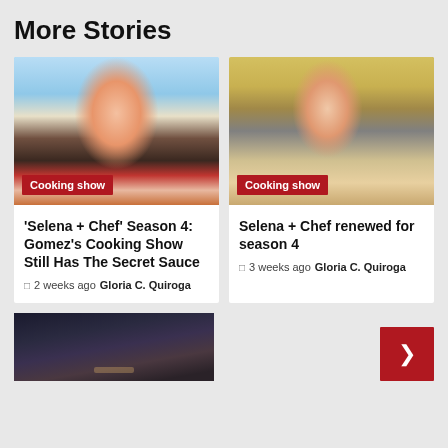More Stories
[Figure (photo): Woman in red polka-dot dress in a bright kitchen with ocean view, cooking show set. Red badge reading 'Cooking show' overlaid at bottom left.]
'Selena + Chef' Season 4: Gomez's Cooking Show Still Has The Secret Sauce
2 weeks ago  Gloria C. Quiroga
[Figure (photo): Woman in white floral dress at rustic kitchen counter with brick wall background, mixing bowl in front. Red badge reading 'Cooking show' overlaid at bottom left.]
Selena + Chef renewed for season 4
3 weeks ago  Gloria C. Quiroga
[Figure (photo): Dark moody image of a room or dungeon interior, partially visible at bottom of page.]